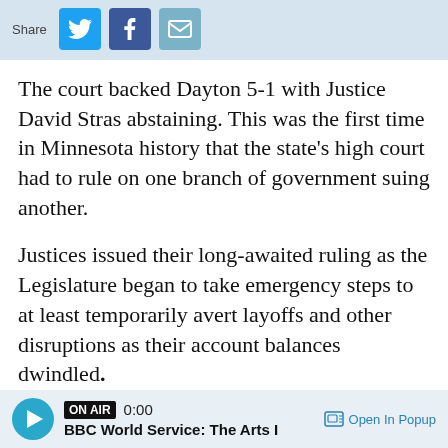[Figure (screenshot): Share bar with Twitter, Facebook, and email/envelope icon buttons on a light blue background]
The court backed Dayton 5-1 with Justice David Stras abstaining. This was the first time in Minnesota history that the state's high court had to rule on one branch of government suing another.
Justices issued their long-awaited ruling as the Legislature began to take emergency steps to at least temporarily avert layoffs and other disruptions as their account balances dwindled.
Dayton applauded the decision and noted the court found the Legislature has access to at least $26 million to continue operating until it
[Figure (screenshot): Audio player bar showing ON AIR badge, 0:00 time, BBC World Service: The Arts I label, and Open In Popup button]